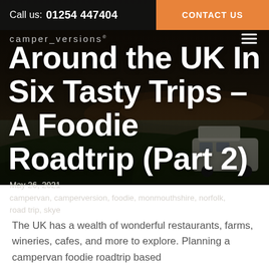Call us: 01254 447404  |  CONTACT US
Around the UK In Six Tasty Trips – A Foodie Roadtrip (Part 2)
May 26, 2021
campervan, camperversion, foodie, monmouthshire, norfolk, road trip, skye
[Figure (photo): Dark atmospheric photo of a campervan parked on a grassy coastal hillside at dusk, with water and sky in background]
The UK has a wealth of wonderful restaurants, farms, wineries, cafes, and more to explore. Planning a campervan foodie roadtrip based